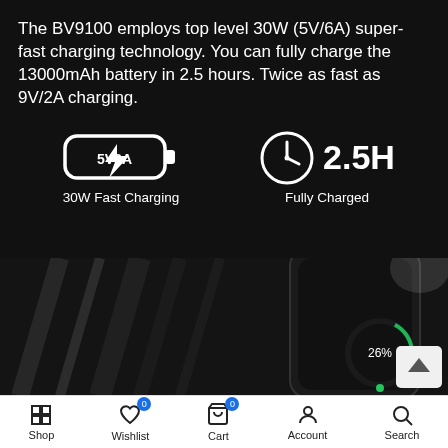The BV9100 employs top level 30W (5V/6A) super-fast charging technology. You can fully charge the 13000mAh battery in 2.5 hours. Twice as fast as 9V/2A charging.
[Figure (infographic): Two icons: a battery/charger icon labeled '5V6A' with lightning bolt (30W Fast Charging) and a clock icon labeled '2.5H' (Fully Charged)]
[Figure (photo): Dark product photo showing a smartphone (BV9100) being charged, with a circular battery indicator showing 26% on screen, against a dark background with light streaks]
Shop | Wishlist 0 | Cart 0 | Account | Search